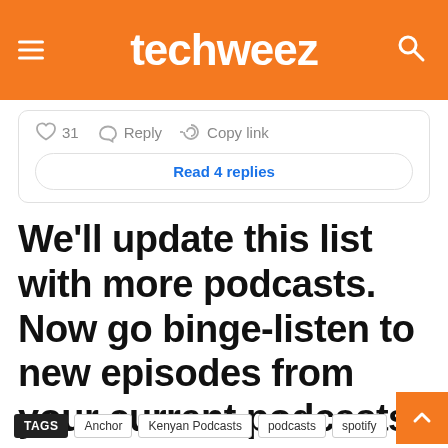techweez
[Figure (screenshot): Comment action buttons showing heart icon with 31 likes, Reply button, and Copy link button, followed by a 'Read 4 replies' button]
We'll update this list with more podcasts. Now go binge-listen to new episodes from your current podcasts and or new podcasts!
TAGS  Anchor  Kenyan Podcasts  podcasts  spotify